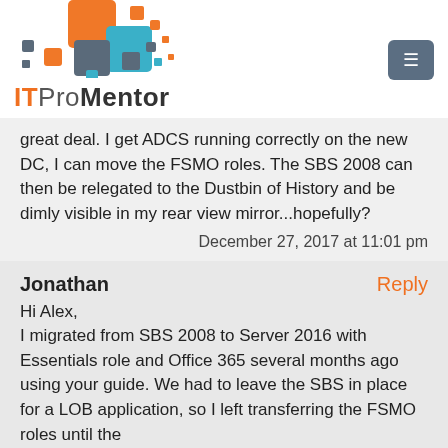[Figure (logo): ITProMentor logo with colorful pixel squares and text]
great deal. I get ADCS running correctly on the new DC, I can move the FSMO roles. The SBS 2008 can then be relegated to the Dustbin of History and be dimly visible in my rear view mirror...hopefully?
December 27, 2017 at 11:01 pm
Jonathan
Reply
Hi Alex,
I migrated from SBS 2008 to Server 2016 with Essentials role and Office 365 several months ago using your guide. We had to leave the SBS in place for a LOB application, so I left transferring the FSMO roles until the